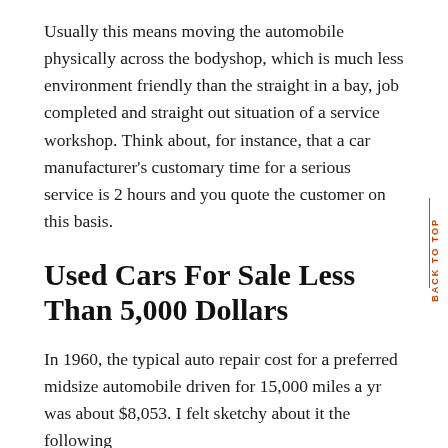Usually this means moving the automobile physically across the bodyshop, which is much less environment friendly than the straight in a bay, job completed and straight out situation of a service workshop. Think about, for instance, that a car manufacturer's customary time for a serious service is 2 hours and you quote the customer on this basis.
Used Cars For Sale Less Than 5,000 Dollars
In 1960, the typical auto repair cost for a preferred midsize automobile driven for 15,000 miles a yr was about $8,053. I felt sketchy about it the following